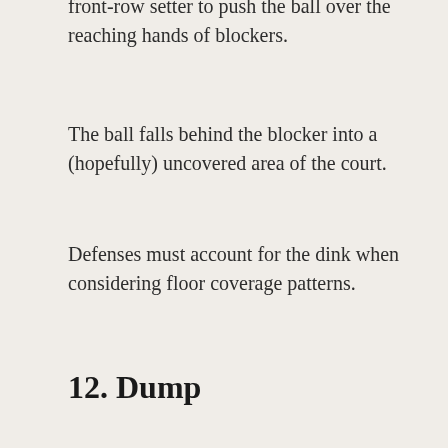A dink is a gentle touch by a hitter or front-row setter to push the ball over the reaching hands of blockers.
The ball falls behind the blocker into a (hopefully) uncovered area of the court.
Defenses must account for the dink when considering floor coverage patterns.
12. Dump
A dump is frequently performed by a front-row setter.
The setter will pretend to go up for a set and quickly tap the ball over the net.
Great setters can perform this hit with